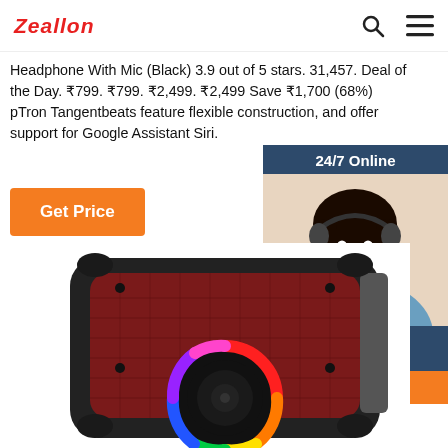Zeallon
Headphone With Mic (Black) 3.9 out of 5 stars. 31,457. Deal of the Day. ₹799. ₹799. ₹2,499. ₹2,499 Save ₹1,700 (68%) pTron Tangentbeats feature flexible construction, and offer support for Google Assistant Siri.
Get Price
[Figure (infographic): 24/7 Online chat widget with a woman wearing a headset, dark blue background, 'Click here for free chat!' text and orange QUOTATION button]
[Figure (photo): A portable Bluetooth speaker with dark body, red grille mesh, and a rainbow RGB circular light at the bottom front]